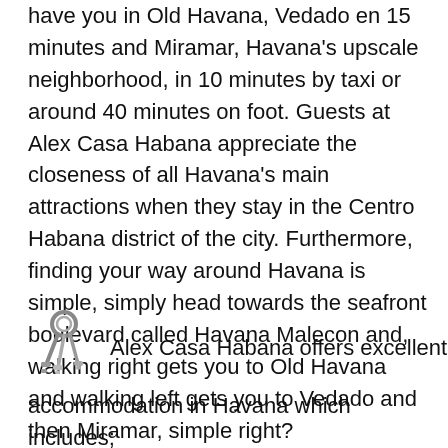have you in Old Havana, Vedado en 15 minutes and Miramar, Havana's upscale neighborhood, in 10 minutes by taxi or around 40 minutes on foot. Guests at Alex Casa Habana appreciate the closeness of all Havana's main attractions when they stay in the Centro Habana district of the city. Furthermore, finding your way around Havana is simple, simply head towards the seafront boulevard called Havana Malecon and, walking right gets you to Old Havana and walking left gets you to Vedado and then Miramar, simple right?
[Figure (illustration): A set of keys on a keyring icon]
Alex Casa Habana offers excellent accommodation in Havana which includes;